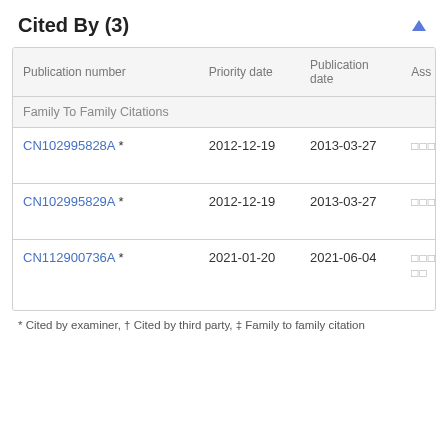Cited By (3)
| Publication number | Priority date | Publication date | Ass |
| --- | --- | --- | --- |
| Family To Family Citations |  |  |  |
| CN102995828A * | 2012-12-19 | 2013-03-27 | □□□ |
| CN102995829A * | 2012-12-19 | 2013-03-27 | □□□ |
| CN112900736A * | 2021-01-20 | 2021-06-04 | □□□□□□ |
* Cited by examiner, † Cited by third party, ‡ Family to family citation